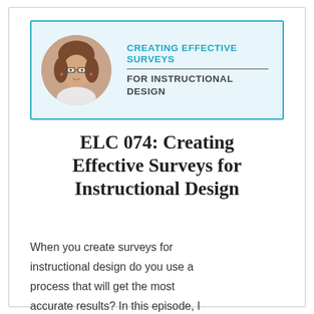[Figure (illustration): Banner with light blue background and teal border, containing a circular photo of a woman with short brown hair and glasses on the left, and text 'CREATING EFFECTIVE SURVEYS FOR INSTRUCTIONAL DESIGN' on the right]
ELC 074: Creating Effective Surveys for Instructional Design
When you create surveys for instructional design do you use a process that will get the most accurate results? In this episode, I